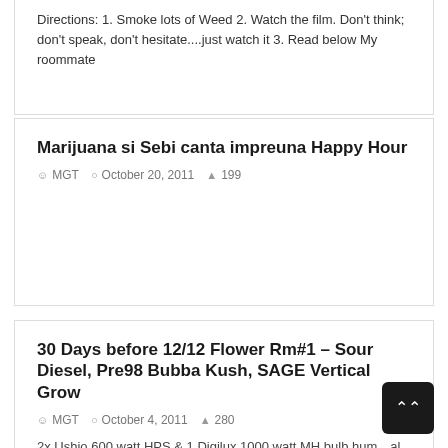Directions: 1. Smoke lots of Weed 2. Watch the film. Don't think; don't speak, don't hesitate....just watch it 3. Read below My roommate
Marijuana si Sebi canta impreuna Happy Hour
MGT   October 20, 2011   199
30 Days before 12/12 Flower Rm#1 – Sour Diesel, Pre98 Bubba Kush, SAGE Vertical Grow
MGT   October 4, 2011   280
2x Ushio 600 watt HPS & 1 Digilux 1000 watt MH bulb hum al. The plants that are in 7gal Smart Pots are Sour Diesel. T